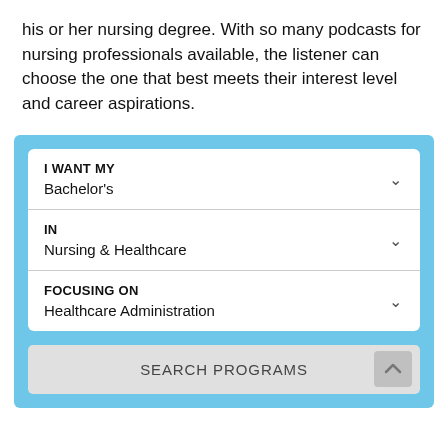his or her nursing degree. With so many podcasts for nursing professionals available, the listener can choose the one that best meets their interest level and career aspirations.
[Figure (screenshot): A web widget with a light blue background containing three dropdown fields: 'I WANT MY' set to Bachelor's, 'IN' set to Nursing & Healthcare, 'FOCUSING ON' set to Healthcare Administration, and a 'SEARCH PROGRAMS' button at the bottom.]